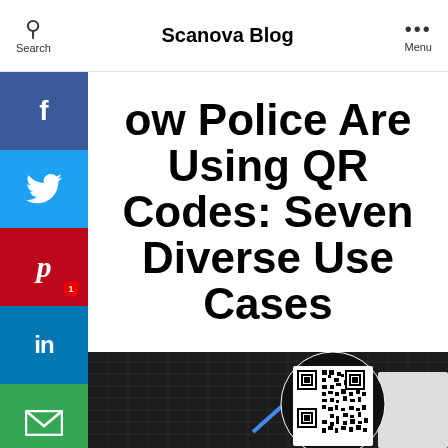Search | Scanova Blog | Menu
How Police Are Using QR Codes: Seven Diverse Use Cases
[Figure (photo): Photo of a police car with a QR code displayed in a circular spotlight/magnified circle overlay, with a dark mesh fence in the background and trees visible.]
1 SHARES